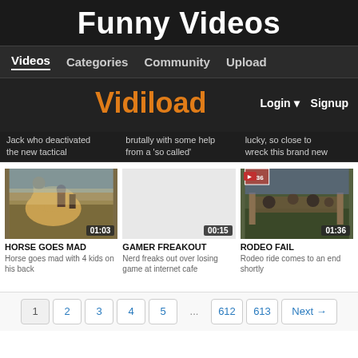Funny Videos
Videos | Categories | Community | Upload
Vidiload  Login  Signup
Jack who deactivated the new tactical... | brutally with some help from a 'so called'... | lucky, so close to wreck this brand new...
[Figure (screenshot): Video thumbnail: horse with riders, duration 01:03]
HORSE GOES MAD
Horse goes mad with 4 kids on his back
00:15
GAMER FREAKOUT
Nerd freaks out over losing game at internet cafe
[Figure (screenshot): Video thumbnail: rodeo scene, duration 01:36]
RODEO FAIL
Rodeo ride comes to an end shortly
1  2  3  4  5  ...  612  613  Next →